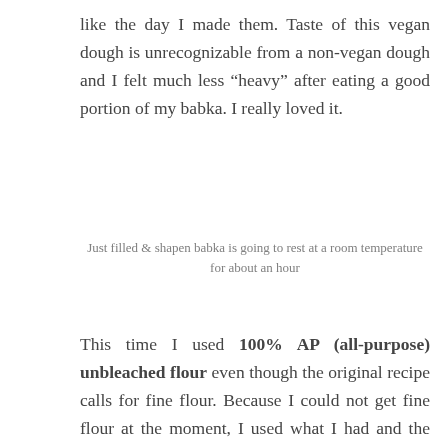like the day I made them. Taste of this vegan dough is unrecognizable from a non-vegan dough and I felt much less “heavy” after eating a good portion of my babka. I really loved it.
Just filled & shapen babka is going to rest at a room temperature for about an hour
This time I used 100% AP (all-purpose) unbleached flour even though the original recipe calls for fine flour. Because I could not get fine flour at the moment, I used what I had and the result was really great. The ingredient I want to experiment with next time will be